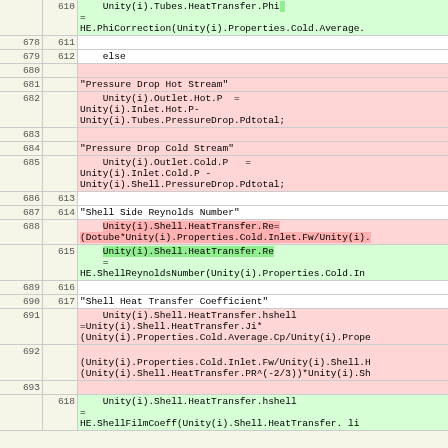| line_old | line_new | code |
| --- | --- | --- |
|  | 610 |     Unity(i).Tubes.HeatTransfer.Phi
    =
HE.PhiCorrection(Unity(i).Properties.Cold.Average. |
| 678 | 611 |  |
| 679 | 612 |     else |
| 680 |  |  |
| 681 |  | "Pressure Drop Hot Stream" |
| 682 |  |     Unity(i).Outlet.Hot.P  =
Unity(i).Inlet.Hot.P-
Unity(i).Tubes.PressureDrop.Pdtotal; |
| 683 |  |  |
| 684 |  | "Pressure Drop Cold Stream" |
| 685 |  |     Unity(i).Outlet.Cold.P   =
Unity(i).Inlet.Cold.P -
Unity(i).Shell.PressureDrop.Pdtotal; |
| 686 | 613 |  |
| 687 | 614 | "Shell Side Reynolds Number" |
| 688 |  |     Unity(i).Shell.HeatTransfer.Re=
(Dotube*Unity(i).Properties.Cold.Inlet.Fw/Unity(i). |
|  | 615 |     Unity(i).Shell.HeatTransfer.Re
    =
HE.ShellReynoldsNumber(Unity(i).Properties.Cold.In |
| 689 | 616 |  |
| 690 | 617 | "Shell Heat Transfer Coefficient" |
| 691 |  |     Unity(i).Shell.HeatTransfer.hshell
=Unity(i).Shell.HeatTransfer.Ji*
(Unity(i).Properties.Cold.Average.Cp/Unity(i).Prope |
| 692 |  | (Unity(i).Properties.Cold.Inlet.Fw/Unity(i).Shell.H
(Unity(i).Shell.HeatTransfer.PR^(-2/3))*Unity(i).Sh |
| 693 |  |  |
|  | 618 |     Unity(i).Shell.HeatTransfer.hshell
=
HE.ShellFilmCoeff(Unity(i).Shell.HeatTransfer. li |